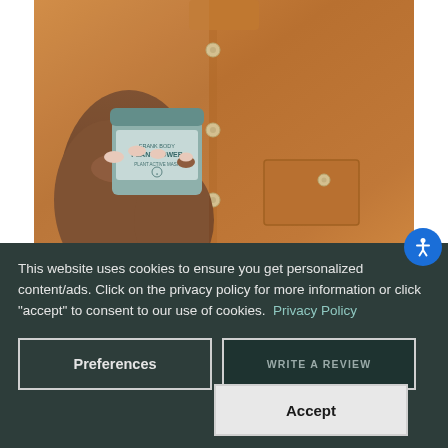[Figure (photo): A person wearing an orange/rust colored shirt holding a small teal/sage green jar of 'Plant Power' skincare product with both hands. Only the torso and hands are visible.]
This website uses cookies to ensure you get personalized content/ads. Click on the privacy policy for more information or click "accept" to consent to our use of cookies.  Privacy Policy
Preferences
Accept
WRITE A REVIEW